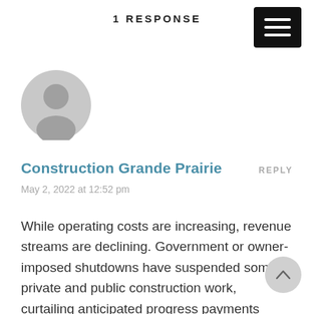1 RESPONSE
[Figure (illustration): Gray default user avatar icon — a circle with a silhouette of a person]
Construction Grande Prairie
REPLY
May 2, 2022 at 12:52 pm
While operating costs are increasing, revenue streams are declining. Government or owner-imposed shutdowns have suspended some private and public construction work, curtailing anticipated progress payments needed to fund overall operations.